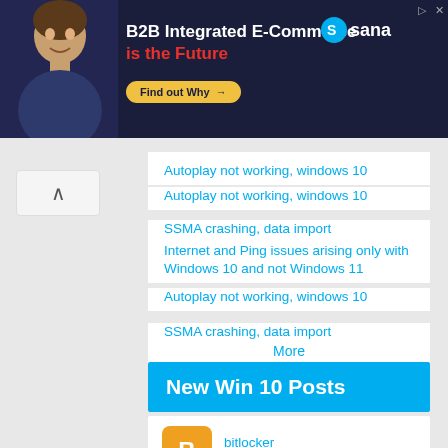[Figure (illustration): Ad banner for Sana B2B Integrated E-Commerce with person photo, text 'B2B Integrated E-Commerce is the Future', Find out Why button, and Sana logo]
Autoplay not working, windows 10
Autoplay not working, windows 10
SSMA crashing, data import
Internet and Ping issues arising only with Windows 10 and not Windows 11
Autoplay not working, windows 10
SSMA crashing, data import
More
New Win 10 Posts
bitlocker
Barry Cribb replied 12